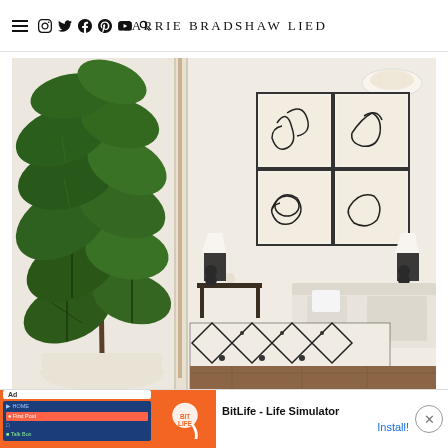CARRIE BRADSHAW LIED
[Figure (photo): Interior design photo showing a large fiddle leaf fig plant in a white pot on the left side, and a stylish living room on the right with abstract art panels, black lamps, white sofa, patterned rug, and chandelier.]
[Figure (screenshot): Advertisement banner for BitLife - Life Simulator app, showing orange branding, app screenshot, BitLife logo with sperm icon, app name, and Install button.]